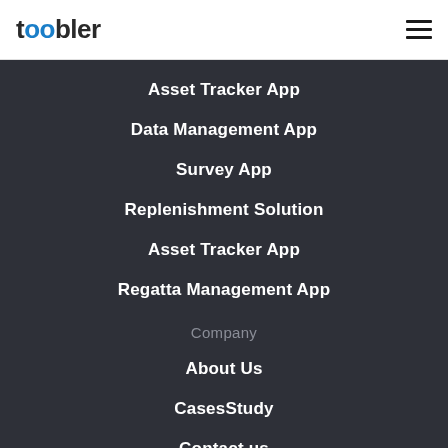toobler
Asset Tracker App
Data Management App
Survey App
Replenishment Solution
Asset Tracker App
Regatta Management App
Company
About Us
CasesStudy
Contact us